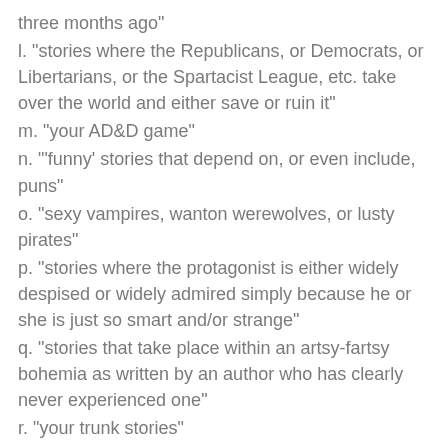three months ago"
l. "stories where the Republicans, or Democrats, or Libertarians, or the Spartacist League, etc. take over the world and either save or ruin it"
m. "your AD&D game"
n. "'funny' stories that depend on, or even include, puns"
o. "sexy vampires, wanton werewolves, or lusty pirates"
p. "stories where the protagonist is either widely despised or widely admired simply because he or she is just so smart and/or strange"
q. "stories that take place within an artsy-fartsy bohemia as written by an author who has clearly never experienced one"
r. "your trunk stories"
Fiction Submissions Process Guidelines - NEW:
"Clarkesworld has adopted an online submissions system to help streamline our process and improve communication with authors. As a result, we will no longer accept E-mail submissions. Go [to the Web site] to submit your stories."
"Our online submissions form is designed to be simple. All fields (author, E-mail, title, cover letter, and story) are mandatory. Your cover letter should contain your publishing history and any other relevant information (e.g., if you send